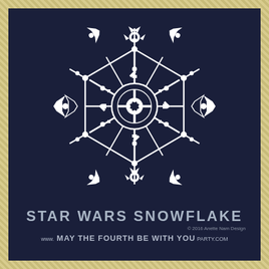[Figure (illustration): Star Wars themed snowflake illustration on dark navy blue background. The snowflake is made of Star Wars imagery including X-Wing fighters, Rebel Alliance symbols, Imperial crest in the center, and wrench-like elements arranged in a radially symmetric snowflake pattern. The design is white on dark navy blue.]
STAR WARS SNOWFLAKE
© 2016 Anette Nam Design
www. MAY THE FOURTH BE WITH YOU PARTY.COM